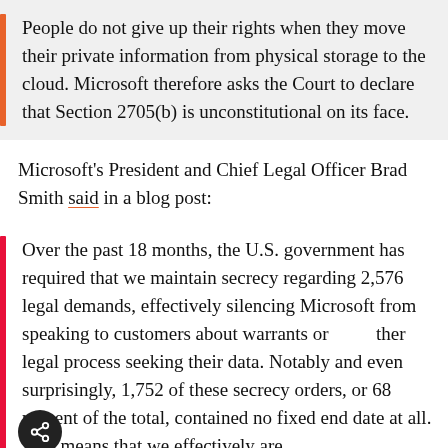People do not give up their rights when they move their private information from physical storage to the cloud. Microsoft therefore asks the Court to declare that Section 2705(b) is unconstitutional on its face.
Microsoft's President and Chief Legal Officer Brad Smith said in a blog post:
Over the past 18 months, the U.S. government has required that we maintain secrecy regarding 2,576 legal demands, effectively silencing Microsoft from speaking to customers about warrants or other legal process seeking their data. Notably and even surprisingly, 1,752 of these secrecy orders, or 68 percent of the total, contained no fixed end date at all. This means that we effectively are